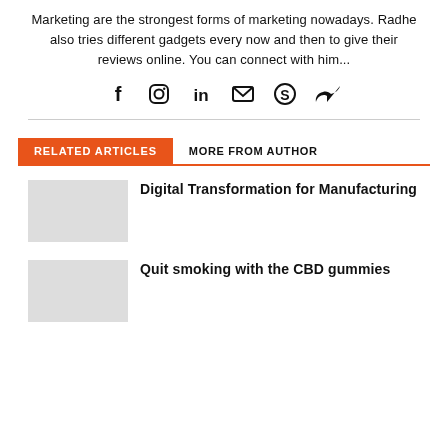Marketing are the strongest forms of marketing nowadays. Radhe also tries different gadgets every now and then to give their reviews online. You can connect with him...
[Figure (infographic): Row of social media icons: Facebook (f), Instagram (circle camera), LinkedIn (in), Email (envelope), Skype (S), Twitter (bird)]
RELATED ARTICLES
MORE FROM AUTHOR
Digital Transformation for Manufacturing
Quit smoking with the CBD gummies